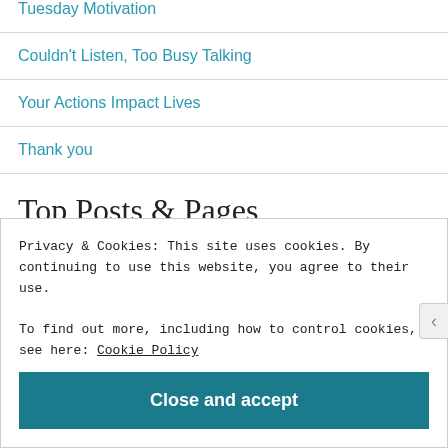Tuesday Motivation
Couldn't Listen, Too Busy Talking
Your Actions Impact Lives
Thank you
Top Posts & Pages
About
Privacy & Cookies: This site uses cookies. By continuing to use this website, you agree to their use.
To find out more, including how to control cookies, see here: Cookie Policy
Close and accept